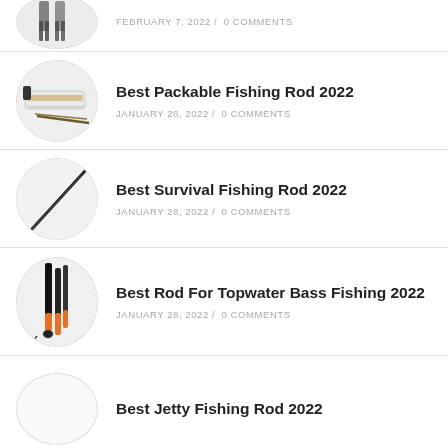FEBRUARY 7, 2022 / 0 COMMENTS
Best Packable Fishing Rod 2022 — JANUARY 28, 2022 / 0 COMMENTS
Best Survival Fishing Rod 2022 — JANUARY 28, 2022 / 0 COMMENTS
Best Rod For Topwater Bass Fishing 2022 — JANUARY 28, 2022 / 0 COMMENTS
Best Jetty Fishing Rod 2022